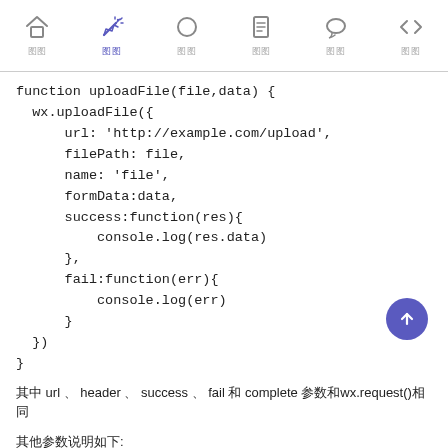Navigation bar with icons: 首页, 图片, 圆形, 文档, 对话, 代码
function uploadFile(file,data) {
  wx.uploadFile({
      url: 'http://example.com/upload',
      filePath: file,
      name: 'file',
      formData:data,
      success:function(res){
          console.log(res.data)
      },
      fail:function(err){
          console.log(err)
      }
  })
}
其中 url 、 header 、 success 、 fail 和 complete 参数和wx.request()相同
其他参数说明如下:
name 表示formData的key，服务器获取到 name 属性对应的